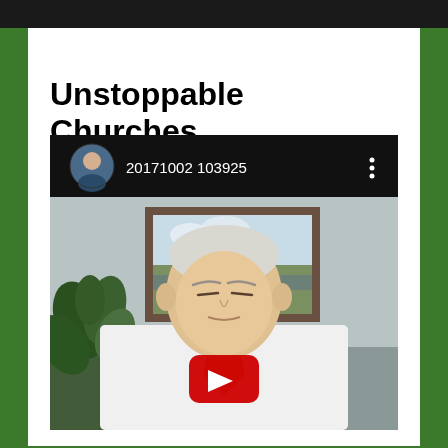Unstoppable Churches
[Figure (screenshot): YouTube video thumbnail showing an elderly man in a white shirt and yellow tie sitting in front of a framed landscape painting and a plant. The video channel shows a profile avatar and the title '20171002 103925'. A red YouTube play button overlay is visible in the center.]